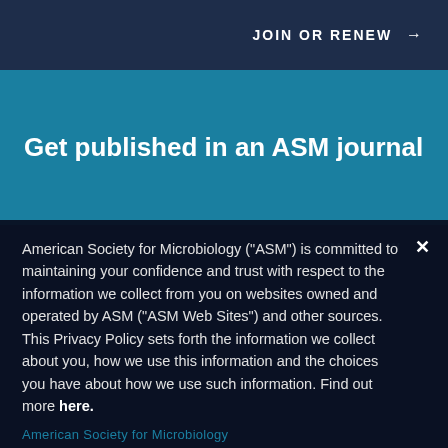JOIN OR RENEW →
Get published in an ASM journal
SUBMIT NOW →
American Society for Microbiology ("ASM") is committed to maintaining your confidence and trust with respect to the information we collect from you on websites owned and operated by ASM ("ASM Web Sites") and other sources. This Privacy Policy sets forth the information we collect about you, how we use this information and the choices you have about how we use such information. Find out more here.
American Society for Microbiology